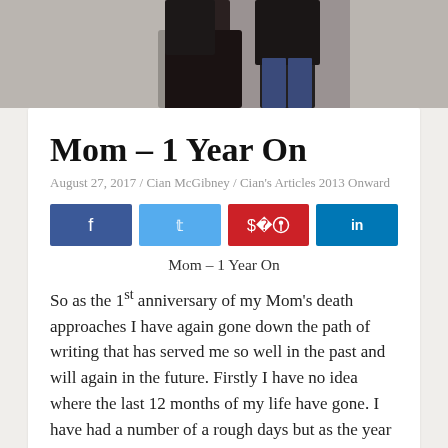[Figure (photo): Photo of two people standing against a wall, cropped showing lower bodies/torsos, wearing dark clothing]
Mom – 1 Year On
August 27, 2017 / Cian McGibney / Cian's Articles 2013 Onward
[Figure (infographic): Social share buttons: Facebook (dark blue), Twitter (light blue), Pinterest (red), LinkedIn (teal blue)]
Mom – 1 Year On
So as the 1st anniversary of my Mom's death approaches I have again gone down the path of writing that has served me so well in the past and will again in the future. Firstly I have no idea where the last 12 months of my life have gone. I have had a number of a rough days but as the year has progressed things have become slightly easier, only